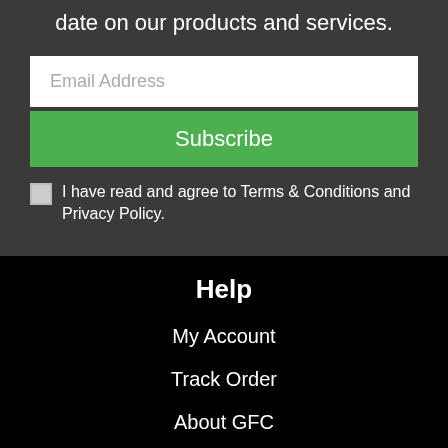date on our products and services.
Email Address
Subscribe
I have read and agree to Terms & Conditions and Privacy Policy.
Help
My Account
Track Order
About GFC
Trade Account